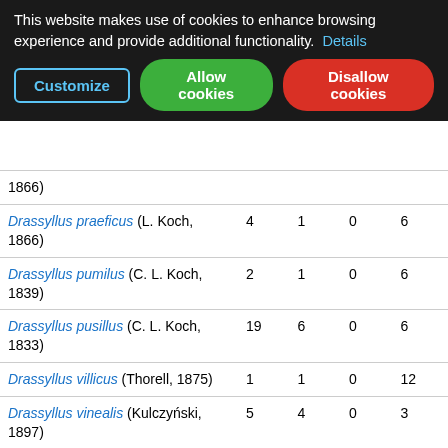This website makes use of cookies to enhance browsing experience and provide additional functionality. Details
Customize | Allow cookies | Disallow cookies
| Species | col1 | col2 | col3 | col4 |
| --- | --- | --- | --- | --- |
| Drassyllus praeficus (L. Koch, 1866) | 4 | 1 | 0 | 6 |
| Drassyllus pumilus (C. L. Koch, 1839) | 2 | 1 | 0 | 6 |
| Drassyllus pusillus (C. L. Koch, 1833) | 19 | 6 | 0 | 6 |
| Drassyllus villicus (Thorell, 1875) | 1 | 1 | 0 | 12 |
| Drassyllus vinealis (Kulczyński, 1897) | 5 | 4 | 0 | 3 |
| Gnaphosa lucifuga (Walckenaer, 1802) | 6 | 1 | 0 | 3 |
| Gnaphosa opaca Herman, 1879 | 14 | 13 | 2 | 13 |
| Haplodrassus dalmatensis (L. Koch, 1866) | 1 | 0 | 0 | 2 |